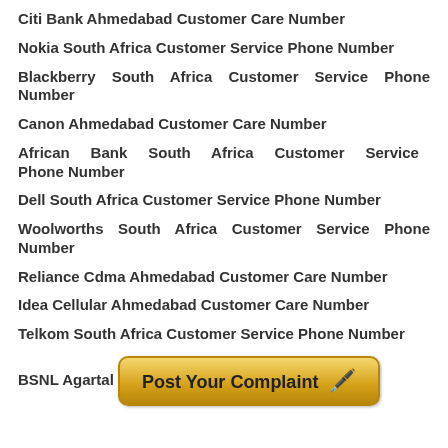Citi Bank Ahmedabad Customer Care Number
Nokia South Africa Customer Service Phone Number
Blackberry South Africa Customer Service Phone Number
Canon Ahmedabad Customer Care Number
African Bank South Africa Customer Service Phone Number
Dell South Africa Customer Service Phone Number
Woolworths South Africa Customer Service Phone Number
Reliance Cdma Ahmedabad Customer Care Number
Idea Cellular Ahmedabad Customer Care Number
Telkom South Africa Customer Service Phone Number
BSNL Agartal Post Your Complaint [button]